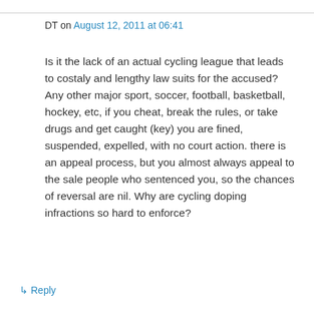DT on August 12, 2011 at 06:41
Is it the lack of an actual cycling league that leads to costaly and lengthy law suits for the accused? Any other major sport, soccer, football, basketball, hockey, etc, if you cheat, break the rules, or take drugs and get caught (key) you are fined, suspended, expelled, with no court action. there is an appeal process, but you almost always appeal to the sale people who sentenced you, so the chances of reversal are nil. Why are cycling doping infractions so hard to enforce?
↳ Reply